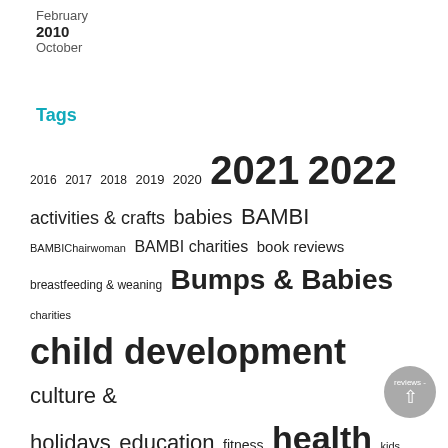February
2010
October
Tags
2016 2017 2018 2019 2020 2021 2022 activities & crafts babies BAMBI BAMBIChairwoman BAMBI charities book reviews breastfeeding & weaning Bumps & Babies charities child development culture & holidays education fitness health kids activity languages life planning lifestyle medical mental health mindfulness natural living nutrition parental musings parenting PDF pregnancy-birth-postpartum recipes reviews - restaurant & attractions safety school kids Thailand toddlers & preschoolers